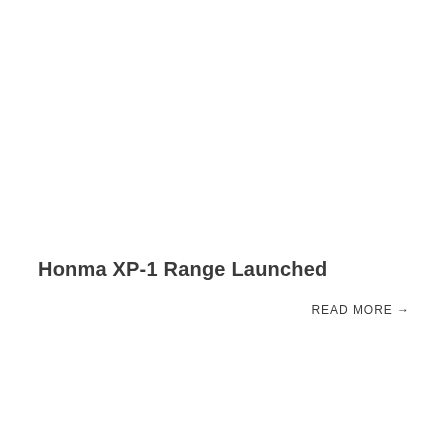Honma XP-1 Range Launched
READ MORE →